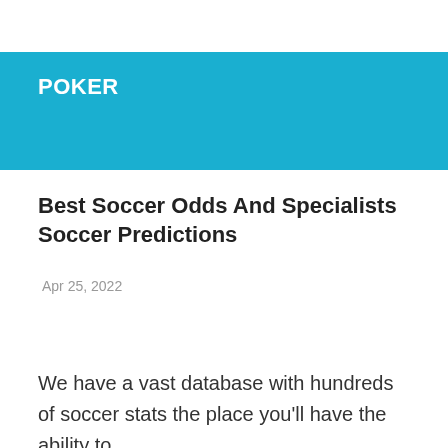POKER
Best Soccer Odds And Specialists Soccer Predictions
Apr 25, 2022
We have a vast database with hundreds of soccer stats the place you'll have the ability to